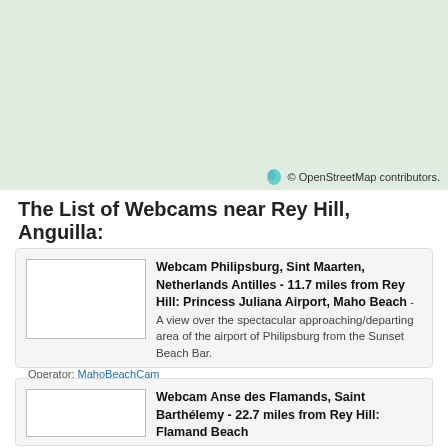[Figure (map): Map area showing region near Rey Hill, Anguilla]
© OpenStreetMap contributors.
The List of Webcams near Rey Hill, Anguilla:
Webcam Philipsburg, Sint Maarten, Netherlands Antilles - 11.7 miles from Rey Hill: Princess Juliana Airport, Maho Beach - A view over the spectacular approaching/departing area of the airport of Philipsburg from the Sunset Beach Bar.
Operator: MahoBeachCam
Webcam Anse des Flamands, Saint Barthélemy - 22.7 miles from Rey Hill: Flamand Beach